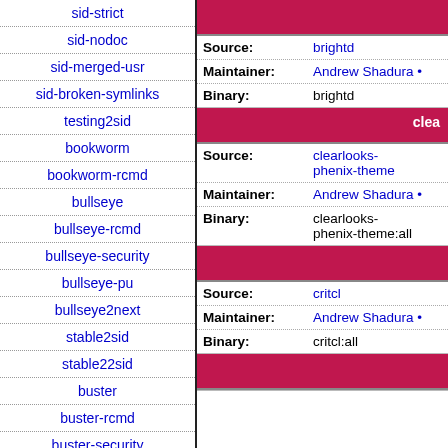sid-strict
sid-nodoc
sid-merged-usr
sid-broken-symlinks
testing2sid
bookworm
bookworm-rcmd
bullseye
bullseye-rcmd
bullseye-security
bullseye-pu
bullseye2next
stable2sid
stable22sid
buster
buster-rcmd
buster-security
buster-pu
| Key | Value |
| --- | --- |
| Source: | brightd |
| Maintainer: | Andrew Shadura • |
| Binary: | brightd |
| Key | Value |
| --- | --- |
| Source: | clearlooks-phenix-theme |
| Maintainer: | Andrew Shadura • |
| Binary: | clearlooks-phenix-theme:all |
| Key | Value |
| --- | --- |
| Source: | critcl |
| Maintainer: | Andrew Shadura • |
| Binary: | critcl:all |